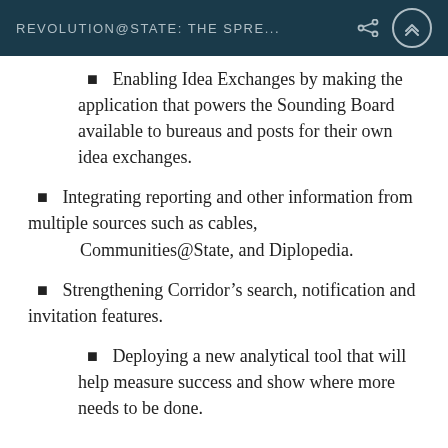REVOLUTION@STATE: THE SPRE...
Enabling Idea Exchanges by making the application that powers the Sounding Board available to bureaus and posts for their own idea exchanges.
Integrating reporting and other information from multiple sources such as cables, Communities@State, and Diplopedia.
Strengthening Corridor’s search, notification and invitation features.
Deploying a new analytical tool that will help measure success and show where more needs to be done.